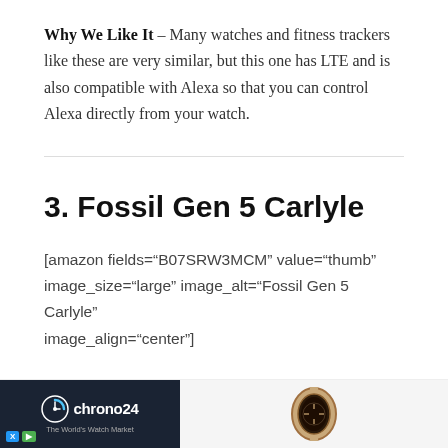Why We Like It – Many watches and fitness trackers like these are very similar, but this one has LTE and is also compatible with Alexa so that you can control Alexa directly from your watch.
3. Fossil Gen 5 Carlyle
[amazon fields="B07SRW3MCM" value="thumb" image_size="large" image_alt="Fossil Gen 5 Carlyle" image_align="center"]
[Figure (other): Chrono24 advertisement banner showing logo on dark background on left and a watch image on right]